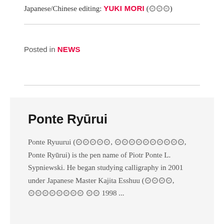Japanese/Chinese editing: YUKI MORI (🔲🔲🔲)
Posted in News
Ponte Ryūrui
Ponte Ryuurui (🔲🔲🔲🔲🔲, 🔲🔲🔲🔲🔲🔲🔲🔲🔲🔲, Ponte Ryūrui) is the pen name of Piotr Ponte L. Sypniewski. He began studying calligraphy in 2001 under Japanese Master Kajita Esshuu (🔲🔲🔲🔲, 🔲🔲🔲🔲🔲🔲🔲🔲...